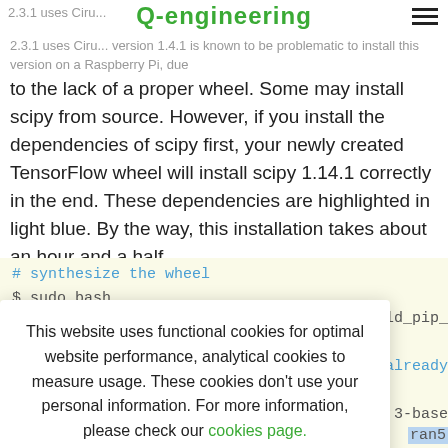2.3.1 use ... 1.4.1 ... Q-engineering (hamburger menu)
2.3.1 uses Ciru... version 1.4.1 is known to be problematic to install this version on a Raspberry Pi, due to the lack of a proper wheel. Some may install scipy from source. However, if you install the dependencies of scipy first, your newly created TensorFlow wheel will install scipy 1.14.1 correctly in the end. These dependencies are highlighted in light blue. By the way, this installation takes about an hour and a half.
[Figure (screenshot): Code block showing shell commands to synthesize the wheel, with cookie consent overlay dialog. The dialog reads: 'This website uses functional cookies for optimal website performance, analytical cookies to measure usage. These cookies don't use your personal information. For more information, please check our cookies page.' with an 'I agree' button. Behind the overlay, code fragments show: '# synthesize the wheel', '$ sudo bash', 'e/build_pip_', 't already', '3-base', 'e', 'ran5']